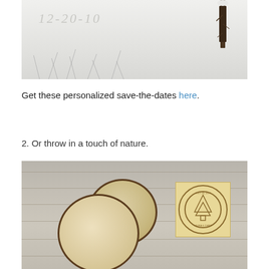[Figure (photo): Black and white photo of date '12-20-10' written in snow with a tree trunk visible in the background and sparse winter grasses]
Get these personalized save-the-dates here.
2. Or throw in a touch of nature.
[Figure (photo): Photo of wooden log slice coasters on white weathered wood planks, with a square rubber stamp featuring a pine tree and circular text reading 'July 20 2014' and names]